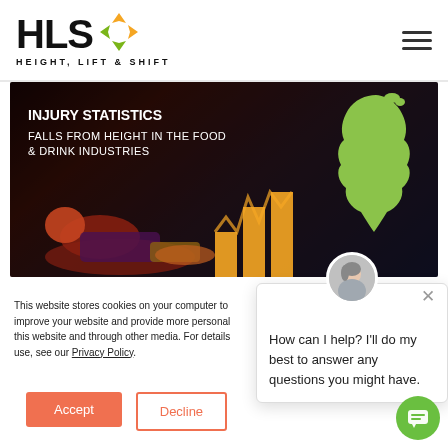HLS HEIGHT, LIFT & SHIFT
[Figure (screenshot): Hero banner image showing a person fallen on the ground with UK map overlay and orange bar chart, with text overlay: INJURY STATISTICS FALLS FROM HEIGHT IN THE FOOD & DRINK INDUSTRIES]
INJURY STATISTICS
FALLS FROM HEIGHT IN THE FOOD & DRINK INDUSTRIES
This website stores cookies on your computer to improve your website and provide more personal this website and through other media. For detail use, see our Privacy Policy.
[Figure (screenshot): Chat popup with avatar photo of a woman, close button X, and message: How can I help? I'll do my best to answer any questions you might have.]
Accept
Decline